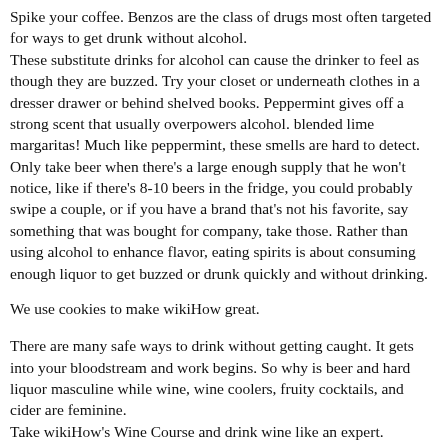Spike your coffee. Benzos are the class of drugs most often targeted for ways to get drunk without alcohol. These substitute drinks for alcohol can cause the drinker to feel as though they are buzzed. Try your closet or underneath clothes in a dresser drawer or behind shelved books. Peppermint gives off a strong scent that usually overpowers alcohol. blended lime margaritas! Much like peppermint, these smells are hard to detect. Only take beer when there's a large enough supply that he won't notice, like if there's 8-10 beers in the fridge, you could probably swipe a couple, or if you have a brand that's not his favorite, say something that was bought for company, take those. Rather than using alcohol to enhance flavor, eating spirits is about consuming enough liquor to get buzzed or drunk quickly and without drinking.
We use cookies to make wikiHow great.
There are many safe ways to drink without getting caught. It gets into your bloodstream and work begins. So why is beer and hard liquor masculine while wine, wine coolers, fruity cocktails, and cider are feminine. Take wikiHow's Wine Course and drink wine like an expert.
A Complete Guide to Alcohol Addiction.
Comforter Blanket Uses, Halo Master Chief Collection Missing...